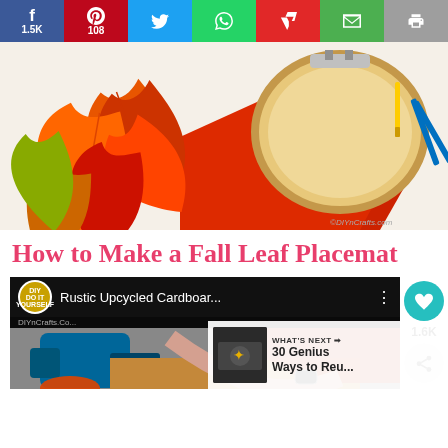Share bar: Facebook 1.5K, Pinterest 108, Twitter, WhatsApp, Flipboard, Email, Print
[Figure (photo): Overhead photo of fall/autumn craft supplies: orange and red artificial maple leaves, a red fabric piece, a round wooden embroidery hoop, scissors and pen on white surface. Watermark: ©DIYnCrafts.com]
How to Make a Fall Leaf Placemat
[Figure (screenshot): Video player thumbnail showing DIY n Crafts logo and title 'Rustic Upcycled Cardboar...' with a three-dot menu button. Below shows a person using a heat gun/iron on cardboard craft project with fall leaves.]
[Figure (infographic): Side panel with teal heart button, count 1.6K, and share icon button]
[Figure (screenshot): What's Next overlay box showing '30 Genius Ways to Reu...' with thumbnail]